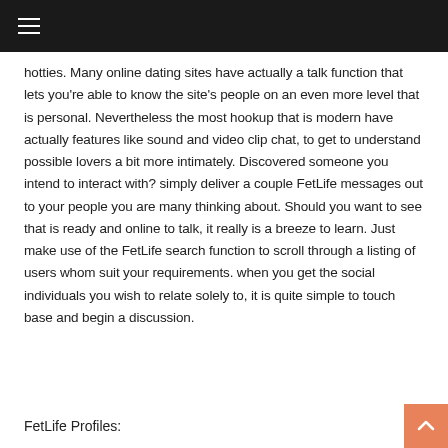☰
hotties. Many online dating sites have actually a talk function that lets you're able to know the site's people on an even more level that is personal. Nevertheless the most hookup that is modern have actually features like sound and video clip chat, to get to understand possible lovers a bit more intimately. Discovered someone you intend to interact with? simply deliver a couple FetLife messages out to your people you are many thinking about. Should you want to see that is ready and online to talk, it really is a breeze to learn. Just make use of the FetLife search function to scroll through a listing of users whom suit your requirements. when you get the social individuals you wish to relate solely to, it is quite simple to touch base and begin a discussion.
FetLife Profiles: